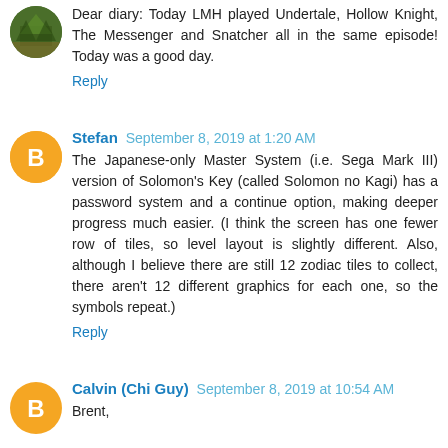Dear diary: Today LMH played Undertale, Hollow Knight, The Messenger and Snatcher all in the same episode! Today was a good day.
Reply
Stefan  September 8, 2019 at 1:20 AM
The Japanese-only Master System (i.e. Sega Mark III) version of Solomon's Key (called Solomon no Kagi) has a password system and a continue option, making deeper progress much easier. (I think the screen has one fewer row of tiles, so level layout is slightly different. Also, although I believe there are still 12 zodiac tiles to collect, there aren't 12 different graphics for each one, so the symbols repeat.)
Reply
Calvin (Chi Guy)  September 8, 2019 at 10:54 AM
Brent,